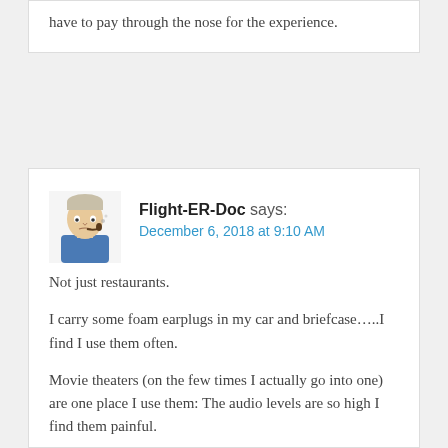have to pay through the nose for the experience.
Flight-ER-Doc says:
December 6, 2018 at 9:10 AM
Not just restaurants.
I carry some foam earplugs in my car and briefcase…..I find I use them often.
Movie theaters (on the few times I actually go into one) are one place I use them: The audio levels are so high I find them painful.